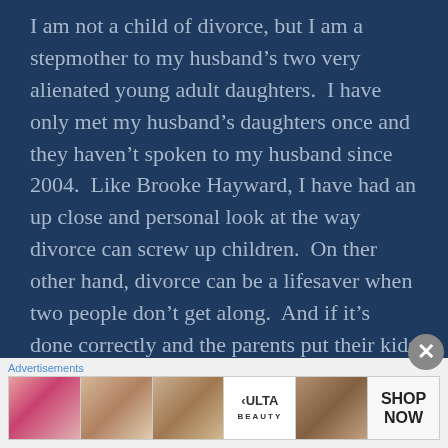I am not a child of divorce, but I am a stepmother to my husband's two very alienated young adult daughters.  I have only met my husband's daughters once and they haven't spoken to my husband since 2004.  Like Brooke Hayward, I have had an up close and personal look at the way divorce can screw up children.  On ther other hand, divorce can be a lifesaver when two people don't get along.  And if it's done correctly and the parents put their kids first, it can be a good
Advertisements
[Figure (other): Advertisement banner showing beauty/makeup imagery with Ulta Beauty logo and SHOP NOW call to action]